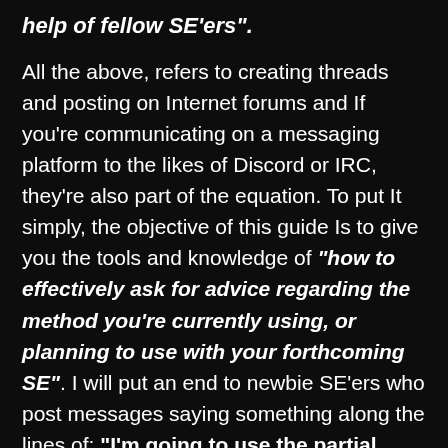help of fellow SE'ers".
All the above, refers to creating threads and posting on Internet forums and If you're communicating on a messaging platform to the likes of Discord or IRC, they're also part of the equation. To put It simply, the objective of this guide Is to give you the tools and knowledge of "how to effectively ask for advice regarding the method you're currently using, or planning to use with your forthcoming SE". I will put an end to newbie SE'ers who post messages saying something along the lines of: "I'm going to use the partial method on some computer parts, what do you think?". Seriously? It's like me